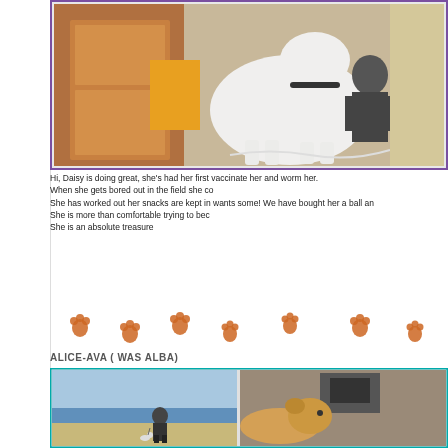[Figure (photo): White dog/goat standing indoors near a wooden door, person visible in background]
Hi, Daisy is doing great, she's had her first vaccinate her and worm her.
When she gets bored out in the field she co
She has worked out her snacks are kept in wants some! We have bought her a ball an
She is more than comfortable trying to bec
She is an absolute treasure
[Figure (illustration): Decorative paw print icons in orange/brown color arranged in a row]
ALICE-AVA ( WAS ALBA)
[Figure (photo): Two photos: left shows a person walking a small dog on a beach; right shows a golden/light colored dog lying down indoors]